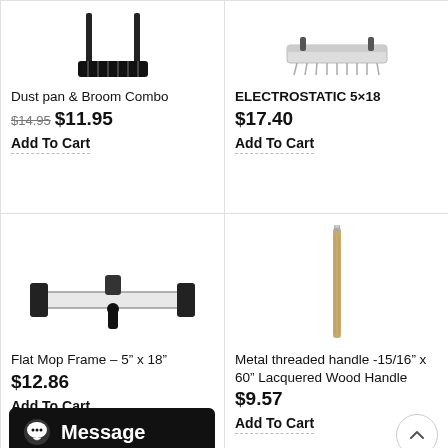[Figure (photo): Dust pan and broom combo product image - black dustpan with broom bristles]
Dust pan & Broom Combo
$14.95 $11.95
Add To Cart
[Figure (photo): ELECTROSTATIC 5x18 product image]
ELECTROSTATIC 5×18
$17.40
Add To Cart
[Figure (photo): Flat mop frame 5 inch by 18 inch product image - white frame with black hardware]
Flat Mop Frame – 5" x 18"
$12.86
Add To Cart
[Figure (photo): Metal threaded handle - wooden lacquered handle product image]
Metal threaded handle -15/16" x 60" Lacquered Wood Handle
$9.57
Add To Cart